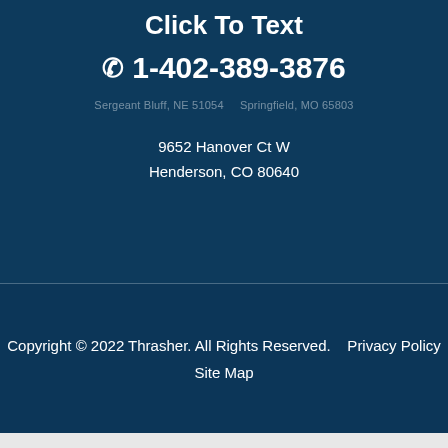Click To Text
1-402-389-3876
Sergeant Bluff, NE 51054    Springfield, MO 65803
9652 Hanover Ct W
Henderson, CO 80640
Copyright © 2022 Thrasher. All Rights Reserved.    Privacy Policy
Site Map